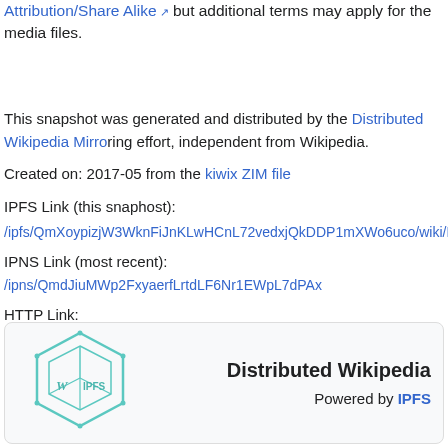Attribution/Share Alike ↗ but additional terms may apply for the media files.
This snapshot was generated and distributed by the Distributed Wikipedia Mirroring effort, independent from Wikipedia.
Created on: 2017-05 from the kiwix ZIM file
IPFS Link (this snaphost):
/ipfs/QmXoypizjW3WknFiJnKLwHCnL72vedxjQkDDP1mXWo6uco/wiki/Kir...
IPNS Link (most recent): /ipns/QmdJiuMWp2FxyaerfLrtdLF6Nr1EWpL7dPAx...
HTTP Link:
https://gateway.ipfs.io/ipfs/QmXoypizjW3WknFiJnKLwHCnL72vedxjQkDDP1...
Download IPFS Here ↗
[Figure (logo): Distributed Wikipedia powered by IPFS logo card with teal cube icon on the left and text 'Distributed Wikipedia / Powered by IPFS' on the right]